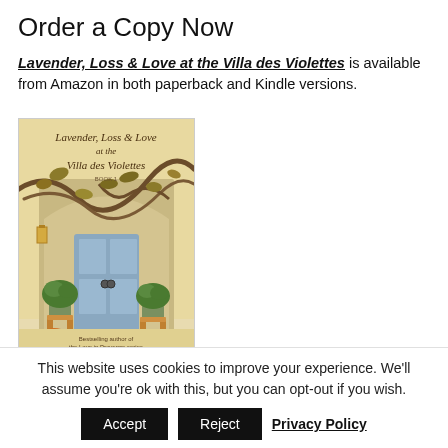Order a Copy Now
Lavender, Loss & Love at the Villa des Violettes is available from Amazon in both paperback and Kindle versions.
[Figure (illustration): Book cover illustration for 'Lavender, Loss & Love at the Villa des Violettes' by Patricia Sands, showing a decorative doorway with climbing vines, potted plants, pumpkins, and the text 'Bestselling author of the Love in Provence series'. Book 1.]
This website uses cookies to improve your experience. We'll assume you're ok with this, but you can opt-out if you wish.
Accept  Reject  Privacy Policy